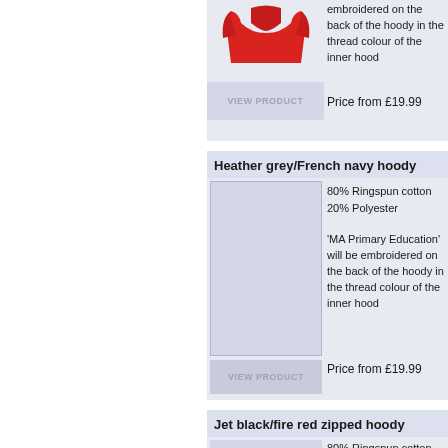[Figure (photo): Partial view of a red hoodie product image at the top]
embroidered on the back of the hoody in the thread colour of the inner hood
Price from £19.99
Heather grey/French navy hoody
[Figure (photo): Heather grey/French navy hoody product image placeholder]
80% Ringspun cotton 20% Polyester
'MA Primary Education' will be embroidered on the back of the hoody in the thread colour of the inner hood
Price from £19.99
Jet black/fire red zipped hoody
[Figure (photo): Jet black/fire red zipped hoody product image placeholder]
80% Ringspun cotton 20% Polyester
'MA Primary Education' will be